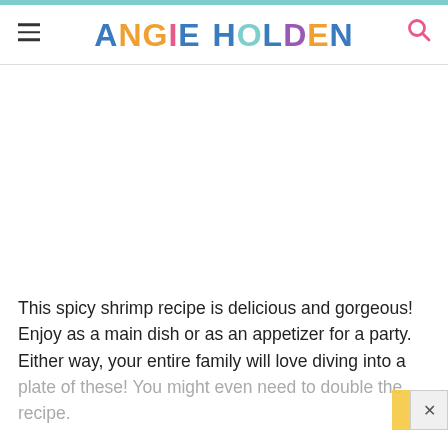ANGIE HOLDEN
This spicy shrimp recipe is delicious and gorgeous! Enjoy as a main dish or as an appetizer for a party. Either way, your entire family will love diving into a plate of these! You might even need to double the recipe.